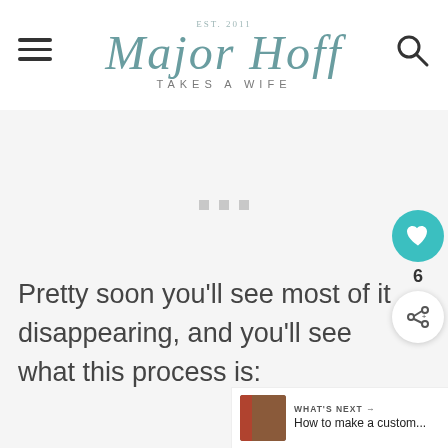Major Hoff Takes a Wife — Est. 2011
[Figure (other): Blank/loading advertisement placeholder area with three small gray dots]
Pretty soon you’ll see most of it disappearing, and you’ll see what this process is: